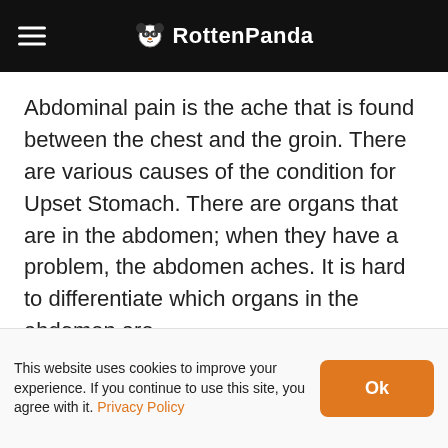RottenPanda
Abdominal pain is the ache that is found between the chest and the groin. There are various causes of the condition for Upset Stomach. There are organs that are in the abdomen; when they have a problem, the abdomen aches. It is hard to differentiate which organs in the abdomen are
This website uses cookies to improve your experience. If you continue to use this site, you agree with it. Privacy Policy